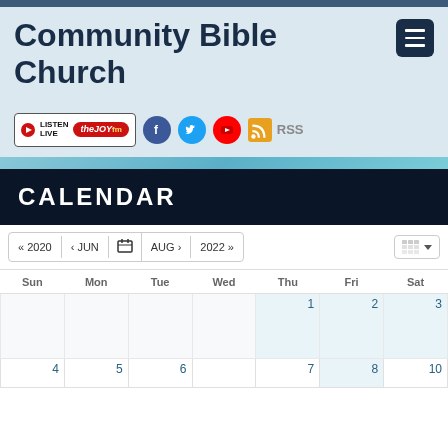Community Bible Church
[Figure (screenshot): Listen Live the Joy FM radio badge with play button icon]
[Figure (logo): Facebook, Twitter, YouTube social media icons and RSS feed link]
CALENDAR
| Sun | Mon | Tue | Wed | Thu | Fri | Sat |
| --- | --- | --- | --- | --- | --- | --- |
|  |  |  |  | 1 | 2 | 3 |
| 4 | 5 | 6 |  | 7 |  | 8 | 9 | 10 |